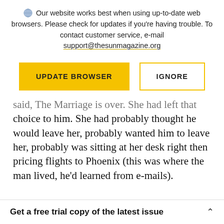Our website works best when using up-to-date web browsers. Please check for updates if you're having trouble. To contact customer service, e-mail support@thesunmagazine.org
[Figure (other): Two buttons: a yellow filled button labeled UPDATE BROWSER and a yellow-outlined white button labeled IGNORE]
said, The Marriage is over. She had left that choice to him. She had probably thought he would leave her, probably wanted him to leave her, probably was sitting at her desk right then pricing flights to Phoenix (this was where the man lived, he'd learned from e-mails).
Get a free trial copy of the latest issue